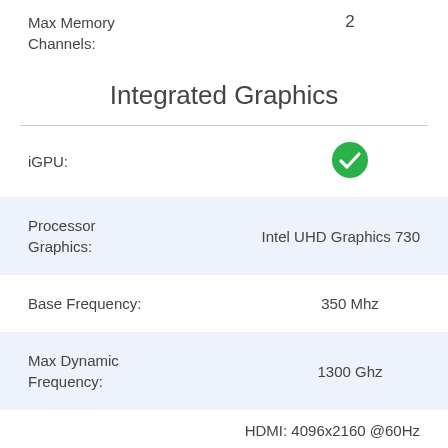Max Memory Channels: 2
Integrated Graphics
iGPU: ✓
Processor Graphics: Intel UHD Graphics 730
Base Frequency: 350 Mhz
Max Dynamic Frequency: 1300 Ghz
HDMI: 4096x2160 @60Hz